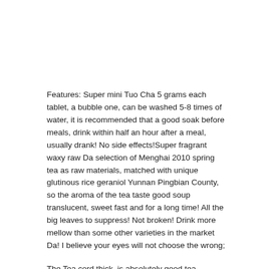Features: Super mini Tuo Cha 5 grams each tablet, a bubble one, can be washed 5-8 times of water, it is recommended that a good soak before meals, drink within half an hour after a meal, usually drank! No side effects!Super fragrant waxy raw Da selection of Menghai 2010 spring tea as raw materials, matched with unique glutinous rice geraniol Yunnan Pingbian County, so the aroma of the tea taste good soup translucent, sweet fast and for a long time! All the big leaves to suppress! Not broken! Drink more mellow than some other varieties in the market Da! I believe your eyes will not choose the wrong;
The Tea cord thick, is absolutely good tea repression, is not broken tea do, please rest assured purchase;